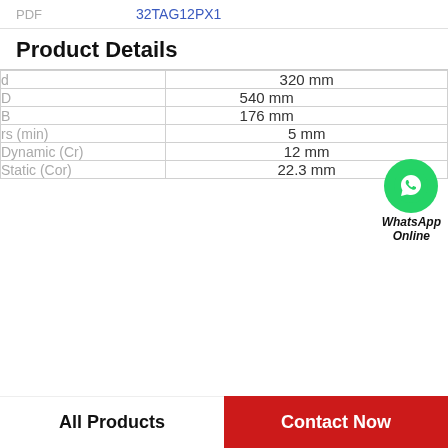|  |  |
| --- | --- |
| PDF | 32TAG12PX1 |
Product Details
| Parameter | Value |
| --- | --- |
| d | 320 mm |
| D | 540 mm |
| B | 176 mm |
| rs (min) | 5 mm |
| Dynamic (Cr) | 12 mm |
| Static (Cor) | 22.3 mm |
WhatsApp Online
All Products | Contact Now